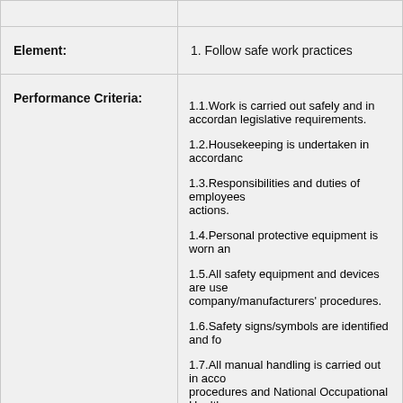| Element: | 1. Follow safe work practices |
| Performance Criteria: | 1.1.Work is carried out safely and in accordance with legislative requirements.
1.2.Housekeeping is undertaken in accordance...
1.3.Responsibilities and duties of employees...actions.
1.4.Personal protective equipment is worn an...
1.5.All safety equipment and devices are used...company/manufacturers' procedures.
1.6.Safety signs/symbols are identified and fo...
1.7.All manual handling is carried out in accor...procedures and National Occupational Health...
1.8.Emergency equipment is identified and ap... |
| Element: | 2. Report workplace hazards and accidents |
| Performance Criteria: | 2.1.Actual and foreseeable workplace hazard... |